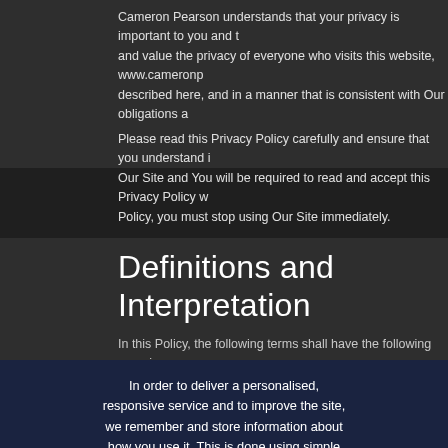Cameron Pearson understands that your privacy is important to you and t... and value the privacy of everyone who visits this website, www.cameronp... described here, and in a manner that is consistent with Our obligations a...
Please read this Privacy Policy carefully and ensure that you understand i... Our Site and You will be required to read and accept this Privacy Policy w... Policy, you must stop using Our Site immediately.
Definitions and Interpretation
In this Policy, the following terms shall have the following meanings:
In order to deliver a personalised, responsive service and to improve the site, we remember and store information about how you use it. This is done using simple text files called cookies which sit on your computer. These cookies are completely safe and secure and will never contain any sensitive information.
Accept & Close | Decline